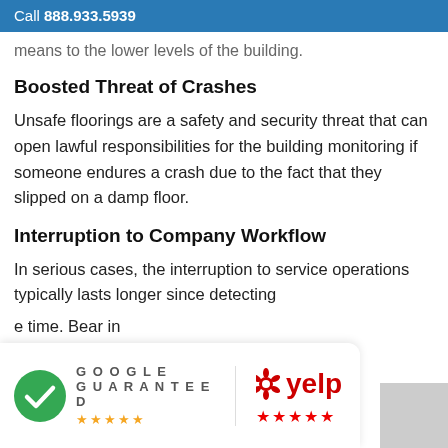Call 888.933.5939
means to the lower levels of the building.
Boosted Threat of Crashes
Unsafe floorings are a safety and security threat that can open lawful responsibilities for the building monitoring if someone endures a crash due to the fact that they slipped on a damp floor.
Interruption to Company Workflow
In serious cases, the interruption to service operations typically lasts longer since detecting
e time. Bear in
mind: water complies with the path of
[Figure (logo): Google Guaranteed badge with green checkmark and 5 orange stars]
[Figure (logo): Yelp logo with 5 red stars]